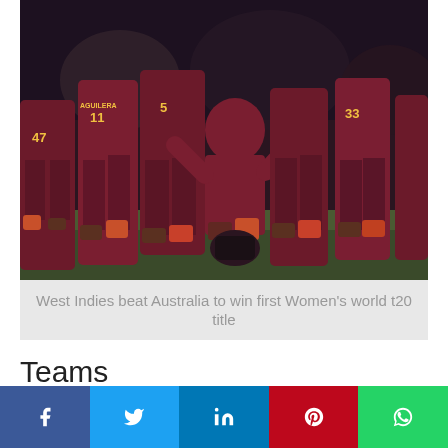[Figure (photo): West Indies women's cricket team celebrating on field, players wearing maroon jerseys with numbers 47, 11 (AGUILERA), 5, 33 visible]
West Indies beat Australia to win first Women's world t20 title
Teams
Eight national women's cricket teams qualified directly for 2018 women's twenty20 world cup meanwhile two came from the qualifiers. West Indies women are the title defenders. The participating teams in WWT20 are: